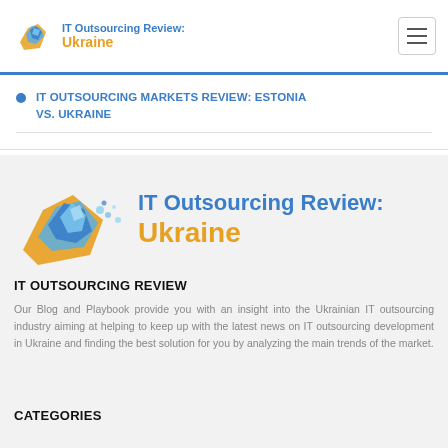IT Outsourcing Review: Ukraine
IT OUTSOURCING MARKETS REVIEW: ESTONIA VS. UKRAINE
[Figure (logo): IT Outsourcing Review: Ukraine logo — Ukraine map silhouette in blue and orange polygonal style with site name text]
IT OUTSOURCING REVIEW
Our Blog and Playbook provide you with an insight into the Ukrainian IT outsourcing industry aiming at helping to keep up with the latest news on IT outsourcing development in Ukraine and finding the best solution for you by analyzing the main trends of the market.
CATEGORIES